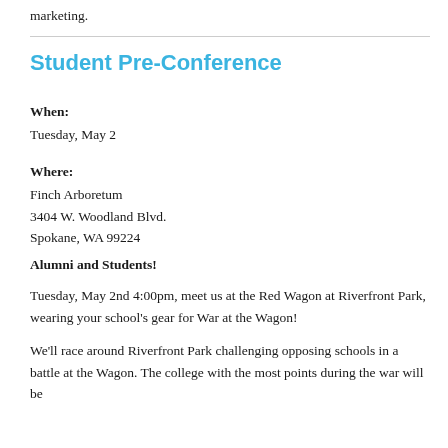marketing.
Student Pre-Conference
When:
Tuesday, May 2
Where:
Finch Arboretum
3404 W. Woodland Blvd.
Spokane, WA 99224
Alumni and Students!
Tuesday, May 2nd 4:00pm, meet us at the Red Wagon at Riverfront Park, wearing your school's gear for War at the Wagon!
We'll race around Riverfront Park challenging opposing schools in a battle at the Wagon. The college with the most points during the war will be